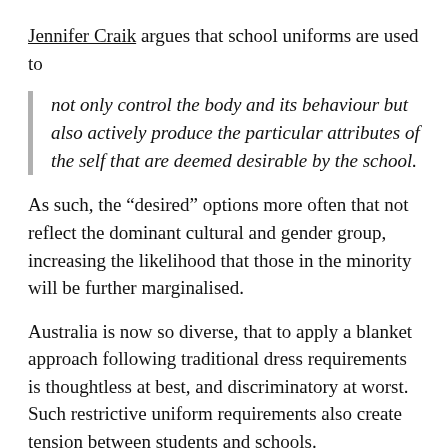Jennifer Craik argues that school uniforms are used to
not only control the body and its behaviour but also actively produce the particular attributes of the self that are deemed desirable by the school.
As such, the “desired” options more often that not reflect the dominant cultural and gender group, increasing the likelihood that those in the minority will be further marginalised.
Australia is now so diverse, that to apply a blanket approach following traditional dress requirements is thoughtless at best, and discriminatory at worst. Such restrictive uniform requirements also create tension between students and schools.